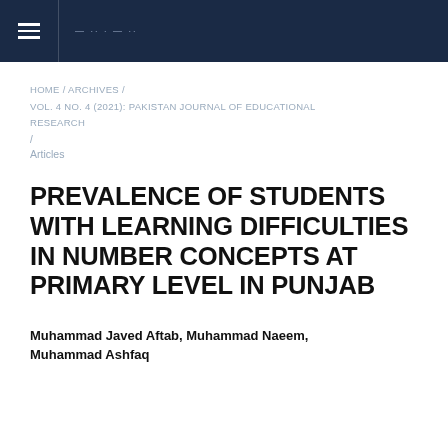— ·· · — ··
HOME / ARCHIVES / VOL. 4 NO. 4 (2021): PAKISTAN JOURNAL OF EDUCATIONAL RESEARCH / Articles
PREVALENCE OF STUDENTS WITH LEARNING DIFFICULTIES IN NUMBER CONCEPTS AT PRIMARY LEVEL IN PUNJAB
Muhammad Javed Aftab, Muhammad Naeem, Muhammad Ashfaq